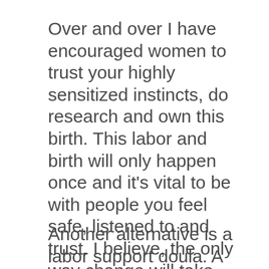Over and over I have encouraged women to trust your highly sensitized instincts, do research and own this birth. This labor and birth will only happen once and it's vital to be with people you feel safe, listened to and trust. I believe, the only way change will take place among the obstetrical practices is through the public. By asking for what you deserve, you educate and introduce the medical profession to another possibility.
Another alternative is a labor support doula. A 'doula' is a Greek word for 'woman assistant.' She meets with a couple and gathers information prentally. She's on call before and after